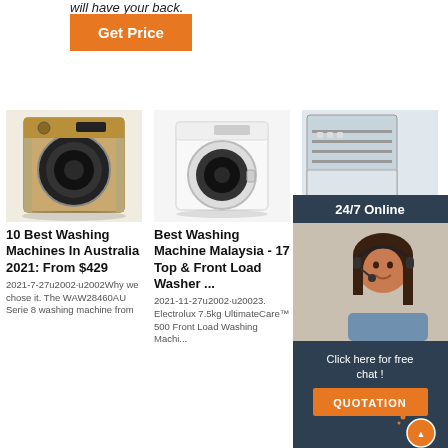will have your back.
Get Price
[Figure (photo): Front-load washing machine, gold/champagne color]
10 Best Washing Machines In Australia 2021: From $429
2021-7-27u2002·u2002Why we chose it. The WAW28460AU Serie 8 washing machine from...
[Figure (photo): White front-load washing machine]
Best Washing Machine Malaysia - 17 Top & Front Load Washer ...
2021-11-27u2002·u20023. Electrolux 7.5kg UltimateCare™ 500 Front Load Washing Machi...
[Figure (photo): Dishwasher/washing machine with customer service representative overlay]
The 7 L... Top Lo... Washing Machine Models For 2021
2021-12-16u2002·u2002LG WT7800CW $1,099. 7. Samsung WA54R7200AW -
[Figure (infographic): 24/7 Online chat advertisement overlay with photo of customer service agent and QUOTATION button]